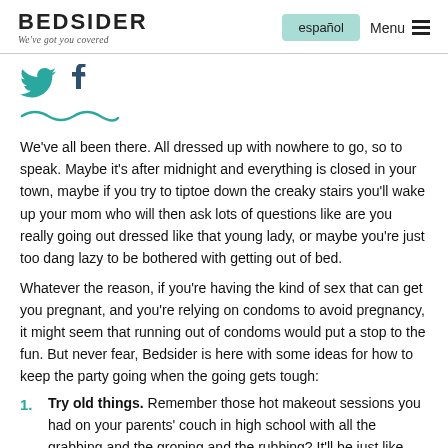BEDSIDER – We've got you covered | español | Menu
[Figure (illustration): Twitter bird icon and Facebook 'f' icon in teal/dark teal, followed by a teal wavy underline.]
We've all been there. All dressed up with nowhere to go, so to speak. Maybe it's after midnight and everything is closed in your town, maybe if you try to tiptoe down the creaky stairs you'll wake up your mom who will then ask lots of questions like are you really going out dressed like that young lady, or maybe you're just too dang lazy to be bothered with getting out of bed.
Whatever the reason, if you're having the kind of sex that can get you pregnant, and you're relying on condoms to avoid pregnancy, it might seem that running out of condoms would put a stop to the fun. But never fear, Bedsider is here with some ideas for how to keep the party going when the going gets tough:
Try old things. Remember those hot makeout sessions you had on your parents' couch in high school with all the grabbing and the groping and the rubbing? It'll be just like